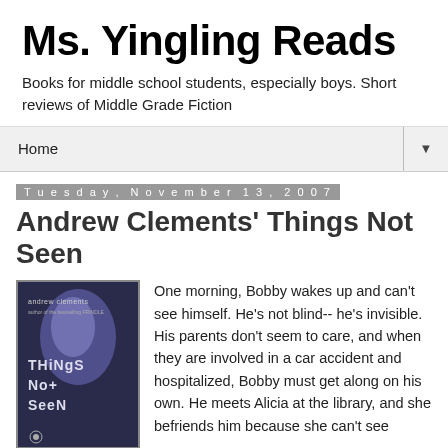Ms. Yingling Reads
Books for middle school students, especially boys. Short reviews of Middle Grade Fiction
Home
Tuesday, November 13, 2007
Andrew Clements' Things Not Seen
[Figure (photo): Book cover of 'Things Not Seen' by Andrew Clements, showing a purple-toned face/figure against a dark background with city lights]
One morning, Bobby wakes up and can't see himself. He's not blind-- he's invisible. His parents don't seem to care, and when they are involved in a car accident and hospitalized, Bobby must get along on his own. He meets Alicia at the library, and she befriends him because she can't see anything at all and can't tell at first that he's invisible. I